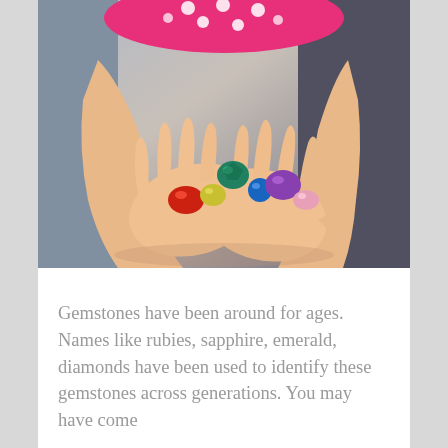[Figure (photo): Close-up photograph of a child's open hands holding several colorful gemstones/crystals including red, yellow, green, blue, purple and pink stones. The child is wearing a pink polka-dot top.]
Gemstones have been around for ages. Names like rubies, sapphire, emerald, diamonds have been used to identify these gemstones across generations. You may have come